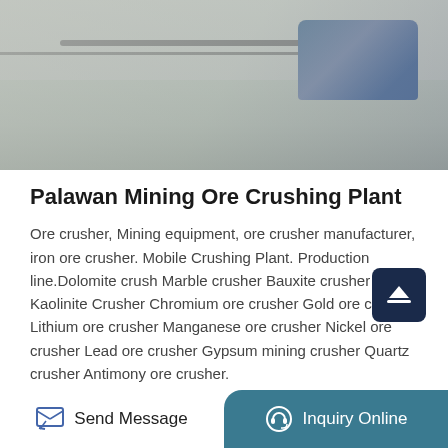[Figure (photo): Photo of a mining ore crushing plant showing concrete slabs/machinery and an electric motor, industrial setting with stone/concrete surfaces]
Palawan Mining Ore Crushing Plant
Ore crusher, Mining equipment, ore crusher manufacturer, iron ore crusher. Mobile Crushing Plant. Production line.Dolomite crush Marble crusher Bauxite crusher Kaolinite Crusher Chromium ore crusher Gold ore crusher Lithium ore crusher Manganese ore crusher Nickel ore crusher Lead ore crusher Gypsum mining crusher Quartz crusher Antimony ore crusher.
Get Price
Send Message   Inquiry Online